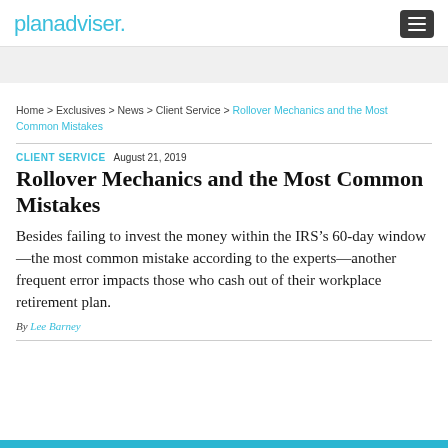planadviser.
Home > Exclusives > News > Client Service > Rollover Mechanics and the Most Common Mistakes
CLIENT SERVICE  August 21, 2019
Rollover Mechanics and the Most Common Mistakes
Besides failing to invest the money within the IRS’s 60-day window—the most common mistake according to the experts—another frequent error impacts those who cash out of their workplace retirement plan.
By Lee Barney